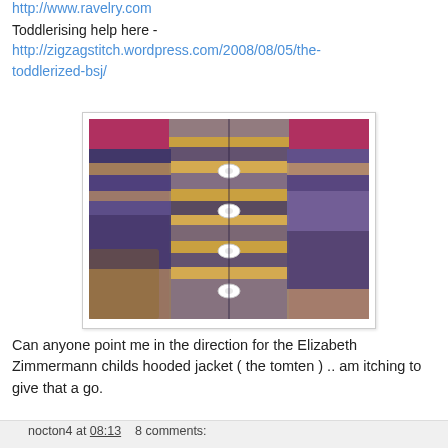http://www.ravelry.com
Toddlerising help here -
http://zigzagstitch.wordpress.com/2008/08/05/the-toddlerized-bsj/
[Figure (photo): Photo of a hand-knitted child's jacket/sweater with multicolored stripes in brown, grey, purple and gold tones, with four white buttons down the front, worn over a red shirt.]
Can anyone point me in the direction for the Elizabeth Zimmermann childs hooded jacket ( the tomten ) .. am itching to give that a go.
nocton4 at 08:13   8 comments: